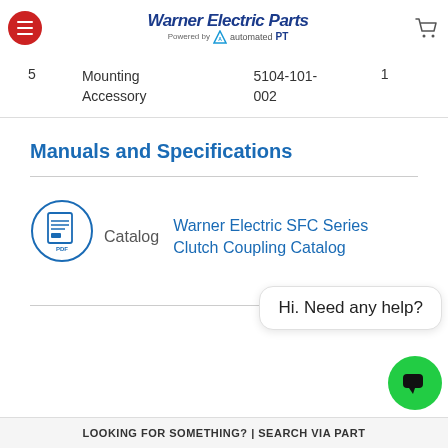[Figure (logo): Warner Electric Parts logo powered by automatedPT, with hamburger menu and cart icon]
| 5 | Mounting Accessory | 5104-101-002 | 1 |
Manuals and Specifications
[Figure (other): PDF catalog icon with circle border]
Catalog  Warner Electric SFC Series Clutch Coupling Catalog
Hi. Need any help?
LOOKING FOR SOMETHING? | SEARCH VIA PART